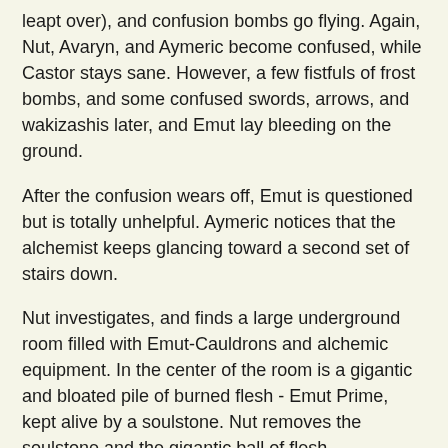leapt over), and confusion bombs go flying. Again, Nut, Avaryn, and Aymeric become confused, while Castor stays sane. However, a few fistfuls of frost bombs, and some confused swords, arrows, and wakizashis later, and Emut lay bleeding on the ground.
After the confusion wears off, Emut is questioned but is totally unhelpful. Aymeric notices that the alchemist keeps glancing toward a second set of stairs down.
Nut investigates, and finds a large underground room filled with Emut-Cauldrons and alchemic equipment. In the center of the room is a gigantic and bloated pile of burned flesh - Emut Prime, kept alive by a soulstone. Nut removes the soulstone and the gigantic ball of flesh immediately putrifies. Nut finds himself wading in ankle-high rotten and moldy flesh (and soon his own vomit). However, he makes his way upstairs then nearly passes out from physical and emotional exhaustion.
With Emut Prime gone, Castor slit upstairs Emut's throat. Still, it's unclear what exactly was going on here, and if this